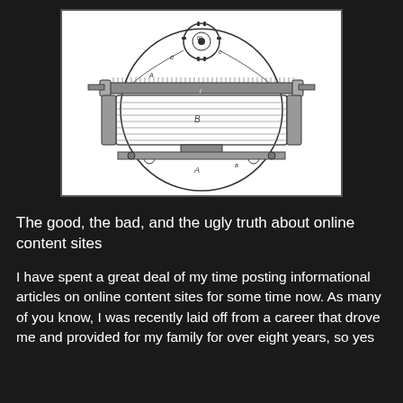[Figure (engineering-diagram): Historical technical illustration of a mechanical device viewed from above, showing a cylindrical roller mechanism labeled 'B', circular gears and components labeled with letters including A, B, m, c, d, and other mechanical parts. Black and white engraving style.]
The good, the bad, and the ugly truth about online content sites
I have spent a great deal of my time posting informational articles on online content sites for some time now. As many of you know, I was recently laid off from a career that drove me and provided for my family for over eight years, so yes